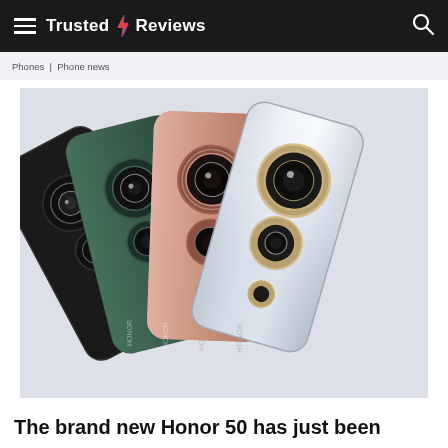Trusted Reviews
Phones | Phone news
[Figure (photo): Four Honor 50 smartphones arranged in a fan layout showing the back of the devices in four colors: black, dark green, pink/rose gold, and silver/pearl white. Each phone features a distinctive circular dual camera module on the back.]
The brand new Honor 50 has just been